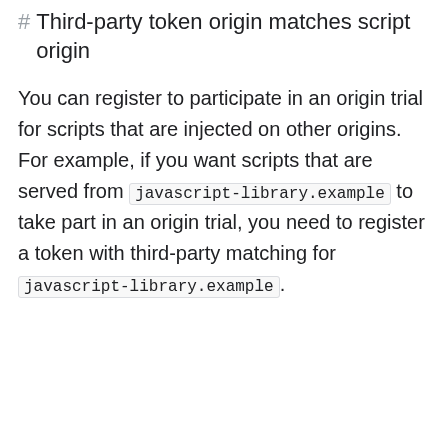# Third-party token origin matches script origin
You can register to participate in an origin trial for scripts that are injected on other origins. For example, if you want scripts that are served from javascript-library.example to take part in an origin trial, you need to register a token with third-party matching for javascript-library.example.
We serve cookies on this site to analyze traffic, remember your preferences, and optimize your experience.